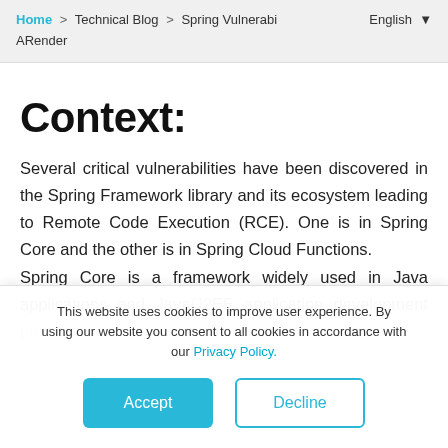Home > Technical Blog > Spring Vulnerabi... English ▼ ARender
Context:
Several critical vulnerabilities have been discovered in the Spring Framework library and its ecosystem leading to Remote Code Execution (RCE). One is in Spring Core and the other is in Spring Cloud Functions. Spring Core is a framework widely used in Java applications and Java/J2EE application development projects.
This website uses cookies to improve user experience. By using our website you consent to all cookies in accordance with our Privacy Policy.